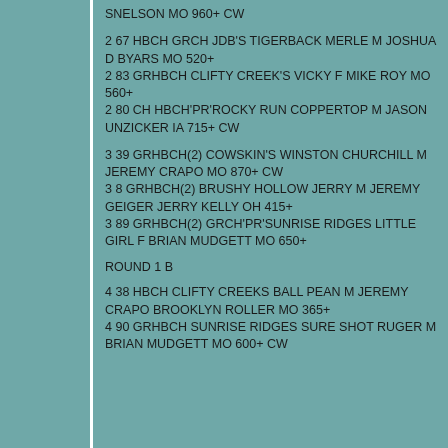SNELSON MO 960+ CW
2 67 HBCH GRCH JDB'S TIGERBACK MERLE M JOSHUA D BYARS MO 520+
2 83 GRHBCH CLIFTY CREEK'S VICKY F MIKE ROY MO 560+
2 80 CH HBCH'PR'ROCKY RUN COPPERTOP M JASON UNZICKER IA 715+ CW
3 39 GRHBCH(2) COWSKIN'S WINSTON CHURCHILL M JEREMY CRAPO MO 870+ CW
3 8 GRHBCH(2) BRUSHY HOLLOW JERRY M JEREMY GEIGER JERRY KELLY OH 415+
3 89 GRHBCH(2) GRCH'PR'SUNRISE RIDGES LITTLE GIRL F BRIAN MUDGETT MO 650+
ROUND 1 B
4 38 HBCH CLIFTY CREEKS BALL PEAN M JEREMY CRAPO BROOKLYN ROLLER MO 365+
4 90 GRHBCH SUNRISE RIDGES SURE SHOT RUGER M BRIAN MUDGETT MO 600+ CW